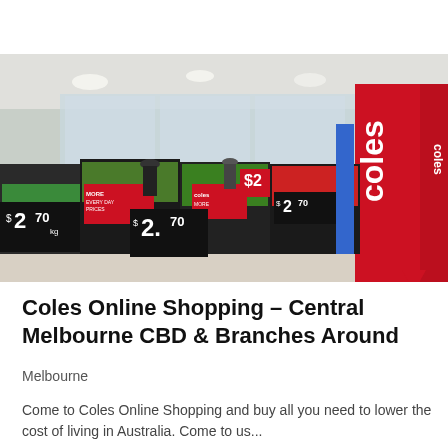[Figure (photo): Interior of a Coles supermarket showing the fresh produce section with price signs displaying $2.70 per kg, red-and-white Coles branding on a large pillar at right, and shoppers browsing the aisles.]
Coles Online Shopping – Central Melbourne CBD & Branches Around
Melbourne
Come to Coles Online Shopping and buy all you need to lower the cost of living in Australia. Come to us...